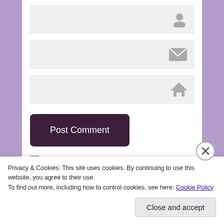[Figure (screenshot): Web form with three input fields (name, email, website), each showing a gray icon on the right side (user icon, envelope icon, house icon). Fields have light gray background.]
Post Comment
Notify me of new comments via email.
Notify me of new posts via email.
Privacy & Cookies: This site uses cookies. By continuing to use this website, you agree to their use.
To find out more, including how to control cookies, see here: Cookie Policy
Close and accept